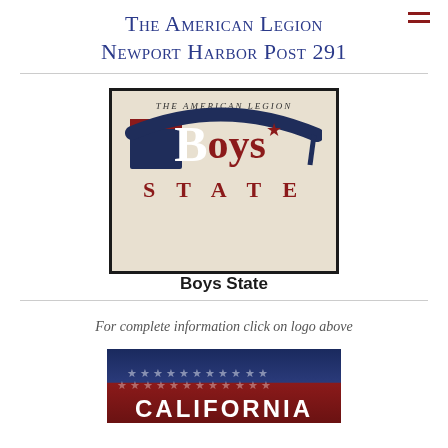The American Legion Newport Harbor Post 291
[Figure (logo): The American Legion Boys State logo — a mortarboard cap with dark navy background behind a large bold 'Boys*' text in dark red/maroon and white B letter, with 'STATE' in spaced maroon letters below, on a beige background with black border]
Boys State
For complete information click on logo above
[Figure (photo): American flag background with the word CALIFORNIA in bold white block letters overlaid, partially visible at bottom of page]